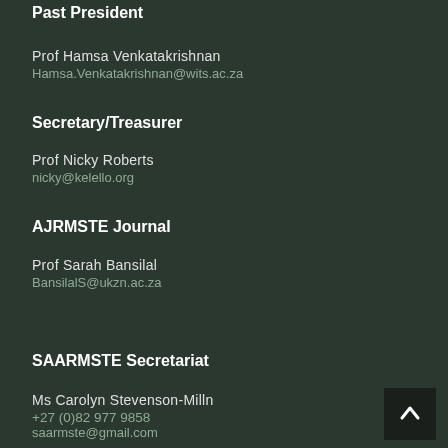Past President
Prof Hamsa Venkatakrishnan
Hamsa.Venkatakrishnan@wits.ac.za
Secretary/Treasurer
Prof Nicky Roberts
nicky@kelello.org
AJRMSTE Journal
Prof Sarah Bansilal
BansilalS@ukzn.ac.za
SAARMSTE Secretariat
Ms Carolyn Stevenson-Milln
+27 (0)82 977 9858
saarmste@gmail.com